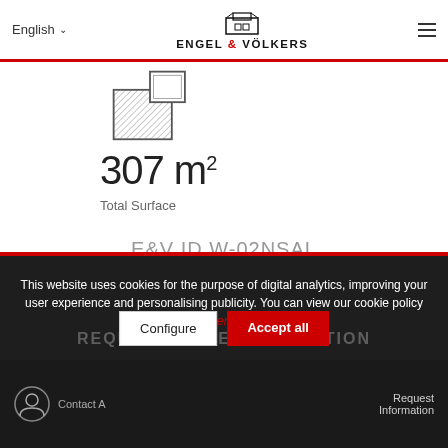English | ENGEL & VÖLKERS
[Figure (illustration): Building/property icon (hatched square with smaller square, representing real estate)]
307 m²
Total Surface
E&V ID W-02NSAL
This website uses cookies for the purpose of digital analytics, improving your user experience and personalising publicity. You can view our cookie policy here.
REQUEST MORE INFORMATION
Configure
Accept all
Contact Agent
Request Information